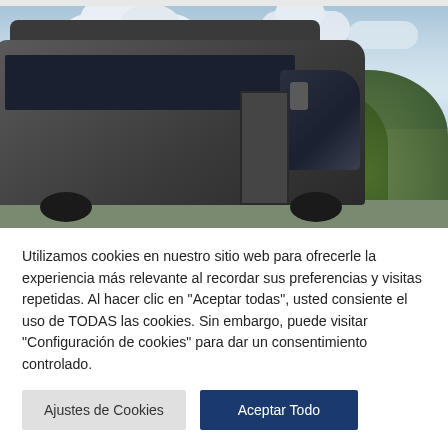[Figure (photo): A dark grey Mercedes-Benz Sprinter minibus/van parked outdoors against a background of trees and a partly cloudy sky.]
Utilizamos cookies en nuestro sitio web para ofrecerle la experiencia más relevante al recordar sus preferencias y visitas repetidas. Al hacer clic en "Aceptar todas", usted consiente el uso de TODAS las cookies. Sin embargo, puede visitar "Configuración de cookies" para dar un consentimiento controlado.
Ajustes de Cookies
Aceptar Todo